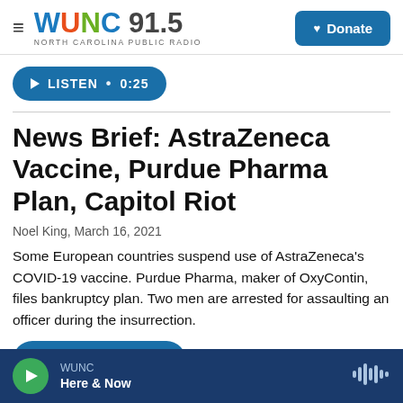WUNC 91.5 NORTH CAROLINA PUBLIC RADIO | Donate
[Figure (screenshot): LISTEN • 0:25 button (small pill-shaped blue button)]
News Brief: AstraZeneca Vaccine, Purdue Pharma Plan, Capitol Riot
Noel King, March 16, 2021
Some European countries suspend use of AstraZeneca's COVID-19 vaccine. Purdue Pharma, maker of OxyContin, files bankruptcy plan. Two men are arrested for assaulting an officer during the insurrection.
[Figure (screenshot): LISTEN • 11:01 button (pill-shaped blue button)]
WUNC Here & Now (audio player footer)